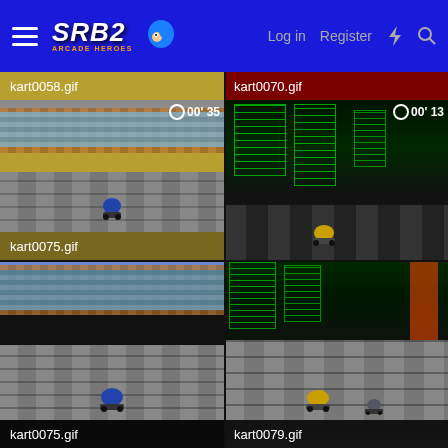SRB2 Arcade Heroes — Log in  Register
[Figure (screenshot): kart0058.gif — retro 3D kart racing game screenshot with blue kart on tiled track, audience in stadium stands, timer showing 00'35]
[Figure (screenshot): kart0070.gif — retro 3D kart racing game screenshot, dark cyberpunk city environment with green grid buildings, timer showing 00'13]
[Figure (screenshot): kart0075.gif — retro 3D kart racing game screenshot with blue kart viewed from behind on tiled track]
[Figure (screenshot): kart0079.gif — retro 3D kart racing game screenshot, yellow kart on dark grid track with cyberpunk cityscape]